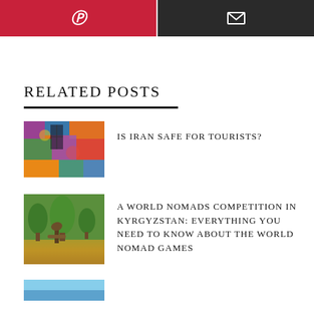[Figure (other): Pinterest share button (red background with P icon)]
[Figure (other): Email share button (dark background with envelope icon)]
RELATED POSTS
[Figure (photo): Colorful stained glass / mosaic interior of an Iranian mosque with multicolored light patterns]
IS IRAN SAFE FOR TOURISTS?
[Figure (photo): Outdoor scene in Kyrgyzstan with trees and a statue/sculpture of an animal]
A WORLD NOMADS COMPETITION IN KYRGYZSTAN: EVERYTHING YOU NEED TO KNOW ABOUT THE WORLD NOMAD GAMES
[Figure (photo): Partial thumbnail image (blue sky, partially visible)]